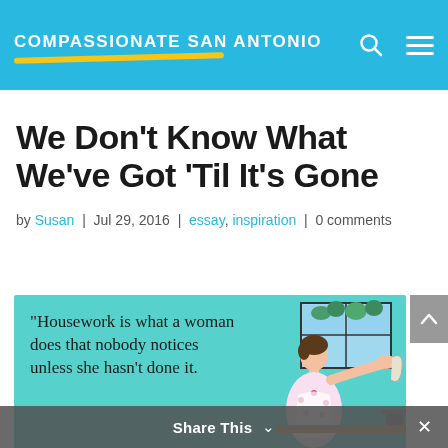COMPASSIONATE SAN ANTONIO
We Don’t Know What We’ve Got ‘Til It’s Gone
by Susan | Jul 29, 2016 | essay, inspiration | 0 comments
[Figure (illustration): Retro-style image with teal background showing a woman doing housework (wiping a window), with the quote: “Housework is what a woman does that nobody notices unless she hasn’t done it.”]